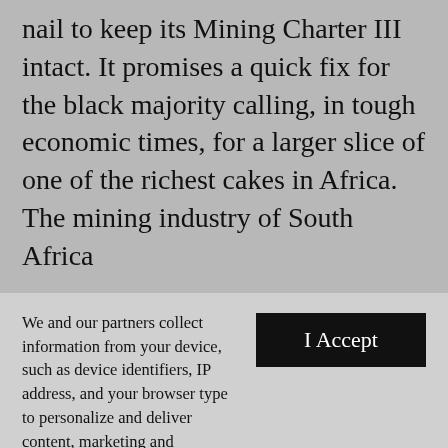nail to keep its Mining Charter III intact. It promises a quick fix for the black majority calling, in tough economic times, for a larger slice of one of the richest cakes in Africa. The mining industry of South Africa
We and our partners collect information from your device, such as device identifiers, IP address, and your browser type to personalize and deliver content, marketing and advertising—across devices and platforms; for analytics and measurement, so we can improve our services and develop new ones; and for social features. By clicking “I accept”, you consent to our use of these Cookies. Visit our Privacy Policy to learn more.
YOUR USE OF THIS SITE SIGNIFIES YOUR AGREEMENT TO THIS PRIVACY POLICY.